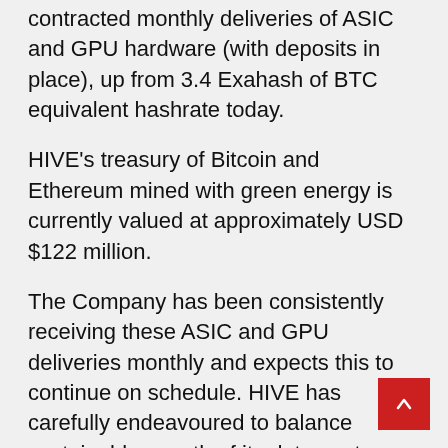contracted monthly deliveries of ASIC and GPU hardware (with deposits in place), up from 3.4 Exahash of BTC equivalent hashrate today.
HIVE's treasury of Bitcoin and Ethereum mined with green energy is currently valued at approximately USD $122 million.
The Company has been consistently receiving these ASIC and GPU deliveries monthly and expects this to continue on schedule. HIVE has carefully endeavoured to balance sustainable growth of its data center infrastructure to optimize the incoming ASIC and GPU hardware orders, so that we have maximum operating hashrate, and the best efficiency in Bitcoin per Exahash amongst industry peers.